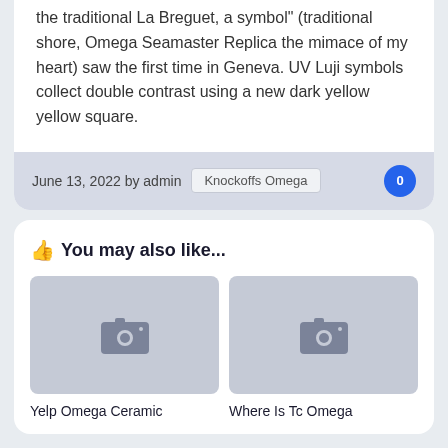the traditional La Breguet, a symbol" (traditional shore, Omega Seamaster Replica the mimace of my heart) saw the first time in Geneva. UV Luji symbols collect double contrast using a new dark yellow yellow square.
June 13, 2022 by admin   Knockoffs Omega   0
You may also like...
[Figure (photo): Placeholder image thumbnail with camera icon, grey background]
[Figure (photo): Placeholder image thumbnail with camera icon, grey background]
Yelp Omega Ceramic
Where Is Tc Omega